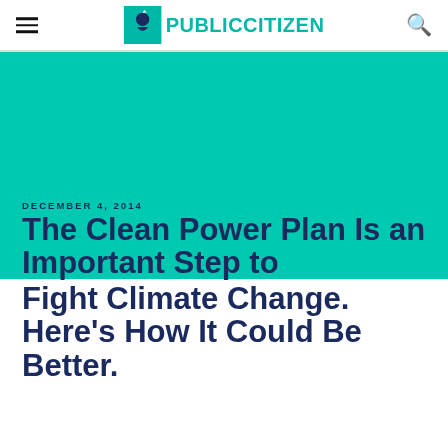PUBLIC CITIZEN
DECEMBER 4, 2014
The Clean Power Plan Is an Important Step to Fight Climate Change. Here's How It Could Be Better.